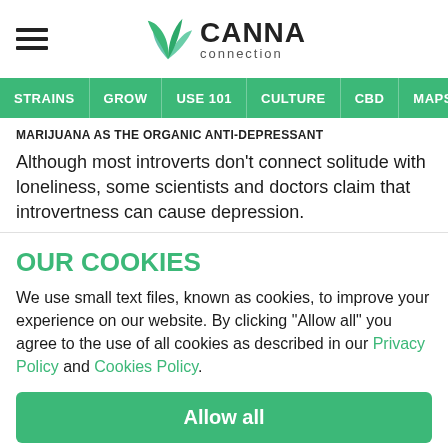CANNA connection
STRAINS | GROW | USE 101 | CULTURE | CBD | MAPS
MARIJUANA AS THE ORGANIC ANTI-DEPRESSANT
Although most introverts don't connect solitude with loneliness, some scientists and doctors claim that introvertness can cause depression.
OUR COOKIES
We use small text files, known as cookies, to improve your experience on our website. By clicking "Allow all" you agree to the use of all cookies as described in our Privacy Policy and Cookies Policy.